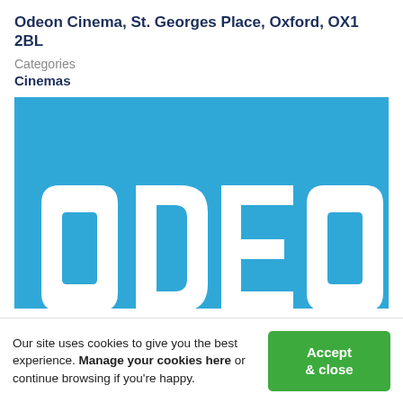Odeon Cinema, St. Georges Place, Oxford, OX1 2BL
Categories
Cinemas
[Figure (logo): ODEON logo — white capital letters spelling ODEON on a blue background.]
Our site uses cookies to give you the best experience. Manage your cookies here or continue browsing if you're happy.